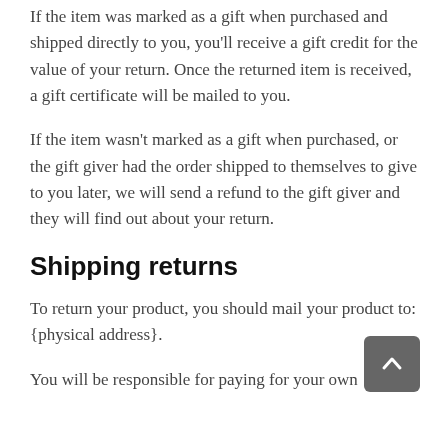If the item was marked as a gift when purchased and shipped directly to you, you'll receive a gift credit for the value of your return. Once the returned item is received, a gift certificate will be mailed to you.
If the item wasn't marked as a gift when purchased, or the gift giver had the order shipped to themselves to give to you later, we will send a refund to the gift giver and they will find out about your return.
Shipping returns
To return your product, you should mail your product to: {physical address}.
You will be responsible for paying for your own